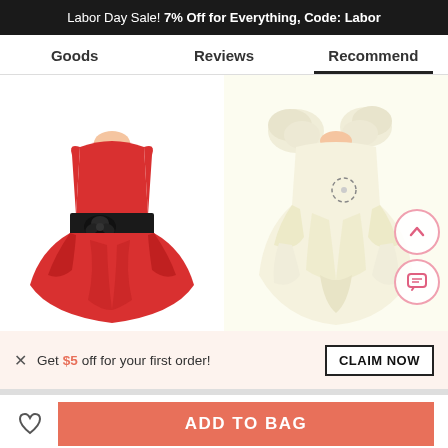Labor Day Sale! 7% Off for Everything, Code: Labor
Goods | Reviews | Recommend
[Figure (photo): Red sleeveless flower girl dress with black sash and flower detail, full skirt with gathered poufs]
[Figure (photo): Cream/ivory ruffled flower girl dress with rosette shoulder straps and rhinestone brooch]
✕  Get $5 off for your first order!
CLAIM NOW
ADD TO BAG